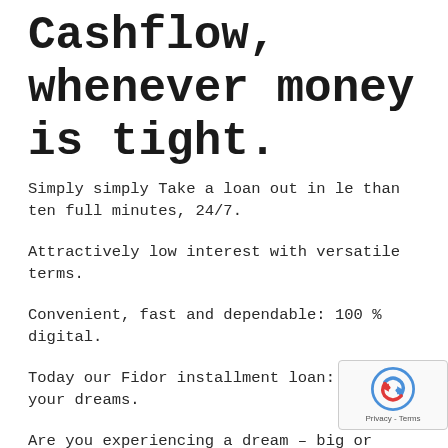Cashflow, whenever money is tight.
Simply simply Take a loan out in le than ten full minutes, 24/7.
Attractively low interest with versatile terms.
Convenient, fast and dependable: 100 % digital.
Today our Fidor installment loan: Live your dreams.
Are you experiencing a dream – big or tiny – you'd like to see become truth today? As a cutting-edge digital bank, we all know steps to make aspirat...
[Figure (other): reCAPTCHA badge with logo and Privacy - Terms text]